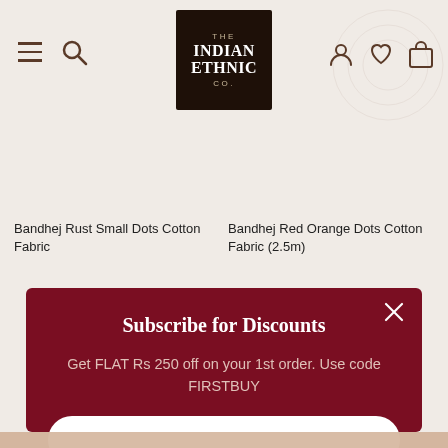[Figure (screenshot): The Indian Ethnic Co. website navigation bar with hamburger menu, search icon, logo, user icon, wishlist icon, and shopping bag icon on a beige background]
Bandhej Rust Small Dots Cotton Fabric
Bandhej Red Orange Dots Cotton Fabric (2.5m)
[Figure (screenshot): Subscribe for Discounts modal popup with dark maroon background. Contains title 'Subscribe for Discounts', text 'Get FLAT Rs 250 off on your 1st order. Use code FIRSTBUY', an email input field, and a SUBSCRIBE button. Close (X) button in top right corner.]